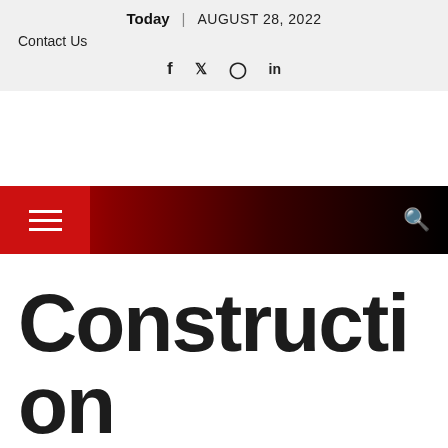Today | AUGUST 28, 2022
Contact Us
f  𝕏  ⊙  in
[Figure (other): Navigation bar with hamburger menu icon on red background gradient to black, and search icon on right]
Construction Accidents and